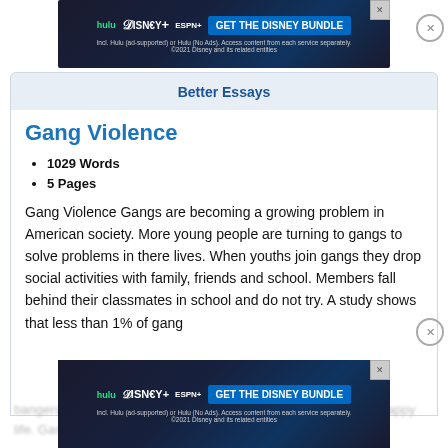[Figure (screenshot): Disney Bundle advertisement banner (Hulu, Disney+, ESPN+) with GET THE DISNEY BUNDLE button]
Better Essays
Gang Violence
1029 Words
5 Pages
Gang Violence Gangs are becoming a growing problem in American society. More young people are turning to gangs to solve problems in there lives. When youths join gangs they drop social activities with family, friends and school. Members fall behind their classmates in school and do not try. A study shows that less than 1% of gang
bangers is literate. Gangs destroy someone lives and destroy... happy life. Gangs are now a human of rate. Teenagers
[Figure (screenshot): Disney Bundle advertisement banner (Hulu, Disney+, ESPN+) with GET THE DISNEY BUNDLE button, bottom of page]